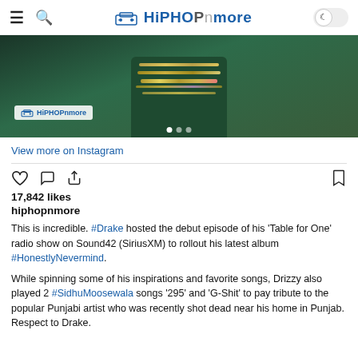HiPHOPnmore — hamburger menu, search icon, dark mode toggle
[Figure (photo): Close-up photo of a bearded man wearing a dark green t-shirt and multiple gold chains/necklaces, with a HiPHOPnMore watermark in the lower left. Three dot pagination indicators visible at the bottom.]
View more on Instagram
17,842 likes
hiphopnmore
This is incredible. #Drake hosted the debut episode of his 'Table for One' radio show on Sound42 (SiriusXM) to rollout his latest album #HonestlyNevermind.
While spinning some of his inspirations and favorite songs, Drizzy also played 2 #SidhuMoosewala songs '295' and 'G-Shit' to pay tribute to the popular Punjabi artist who was recently shot dead near his home in Punjab. Respect to Drake.